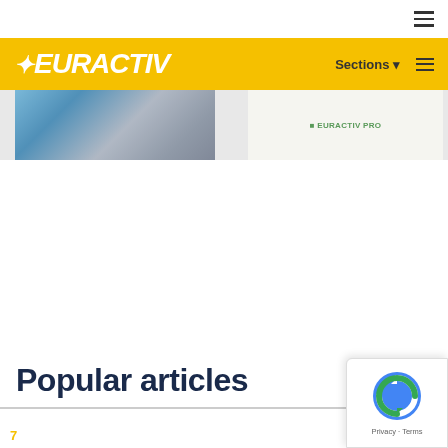EURACTIV — Sections navigation bar
[Figure (screenshot): Partial screenshot of an advertisement or article image strip at top of page]
Popular articles
[Figure (logo): Google reCAPTCHA badge with Privacy and Terms links]